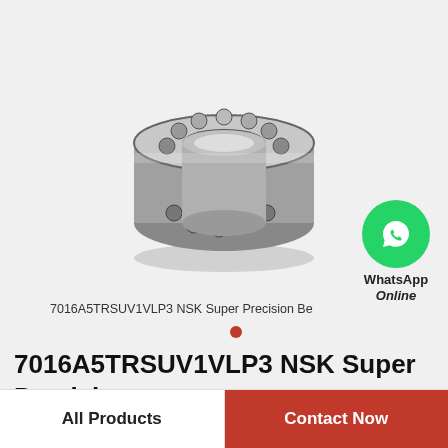[Figure (photo): A steel ball bearing (NSK Super Precision Bearing model 7016A5TRSUV1VLP3) shown at an angle, displaying the inner and outer rings with ball bearings visible.]
[Figure (logo): WhatsApp green circle icon with white phone handset, labeled 'WhatsApp Online']
7016A5TRSUV1VLP3 NSK Super Precision Be
7016A5TRSUV1VLP3 NSK Super Precision Bearings
All Products
Contact Now